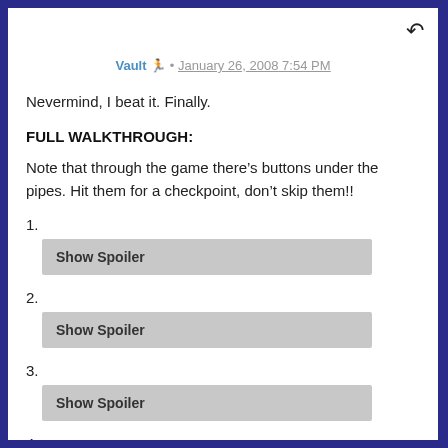Vault 🏃 · January 26, 2008 7:54 PM
Nevermind, I beat it. Finally.
FULL WALKTHROUGH:
Note that through the game there's buttons under the pipes. Hit them for a checkpoint, don't skip them!!
1. [Show Spoiler]
2. [Show Spoiler]
3. [Show Spoiler]
4.